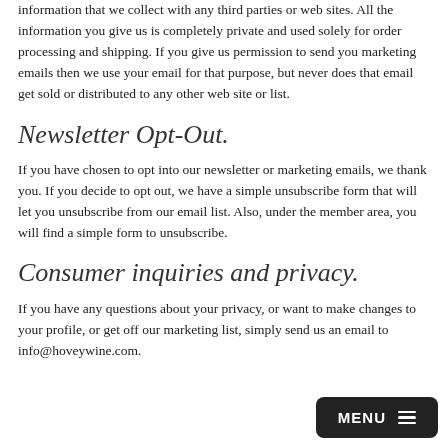information that we collect with any third parties or web sites. All the information you give us is completely private and used solely for order processing and shipping. If you give us permission to send you marketing emails then we use your email for that purpose, but never does that email get sold or distributed to any other web site or list.
Newsletter Opt-Out.
If you have chosen to opt into our newsletter or marketing emails, we thank you. If you decide to opt out, we have a simple unsubscribe form that will let you unsubscribe from our email list. Also, under the member area, you will find a simple form to unsubscribe.
Consumer inquiries and privacy.
If you have any questions about your privacy, or want to make changes to your profile, or get off our marketing list, simply send us an email to info@hoveywine.com.